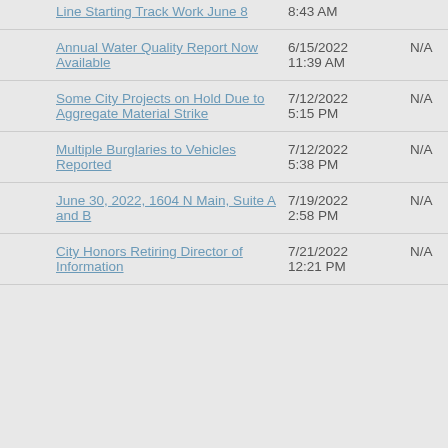| Title | Date | Status |
| --- | --- | --- |
| Line Starting Track Work June 8 | 8:43 AM |  |
| Annual Water Quality Report Now Available | 6/15/2022 11:39 AM | N/A |
| Some City Projects on Hold Due to Aggregate Material Strike | 7/12/2022 5:15 PM | N/A |
| Multiple Burglaries to Vehicles Reported | 7/12/2022 5:38 PM | N/A |
| June 30, 2022, 1604 N Main, Suite A and B | 7/19/2022 2:58 PM | N/A |
| City Honors Retiring Director of Information | 7/21/2022 12:21 PM | N/A |